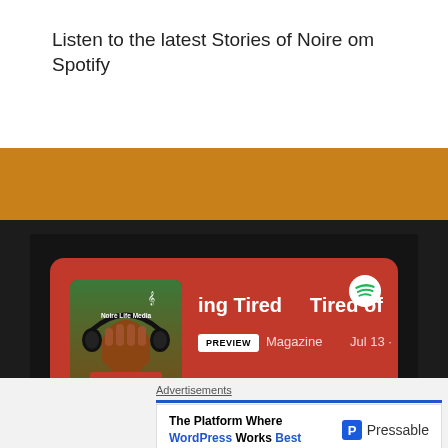Listen to the latest Stories of Noire om Spotify
[Figure (screenshot): Spotify podcast player embed showing 'ing Tired / Tired of' episode from Noire Life Media podcast. Red card with podcast artwork (fist wearing headphones), PREVIEW label, Magazine text, Jul 13 date, play button and three dots menu. Spotify logo visible.]
Advertisements
The Platform Where WordPress Works Best
Pressable